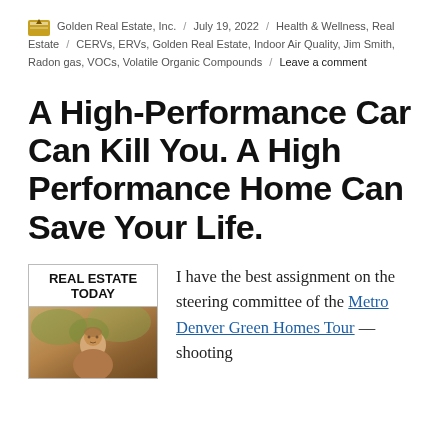Golden Real Estate, Inc. / July 19, 2022 / Health & Wellness, Real Estate / CERVs, ERVs, Golden Real Estate, Indoor Air Quality, Jim Smith, Radon gas, VOCs, Volatile Organic Compounds / Leave a comment
A High-Performance Car Can Kill You. A High Performance Home Can Save Your Life.
[Figure (photo): Real Estate Today thumbnail with bold header text and photo of a man outdoors]
I have the best assignment on the steering committee of the Metro Denver Green Homes Tour — shooting